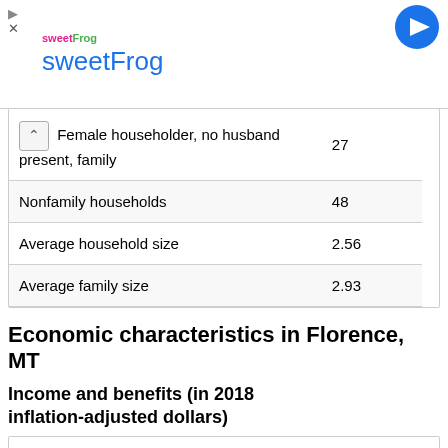[Figure (other): sweetFrog advertisement banner with logo and navigation icons]
| Category | Value |
| --- | --- |
| Female householder, no husband present, family | 27 |
| Nonfamily households | 48 |
| Average household size | 2.56 |
| Average family size | 2.93 |
Economic characteristics in Florence, MT
Income and benefits (in 2018 inflation-adjusted dollars)
| Category | Value |
| --- | --- |
| Total households | 227 |
| Less than $10,000 | 33 |
| $10,000 to $14,999 | 26 |